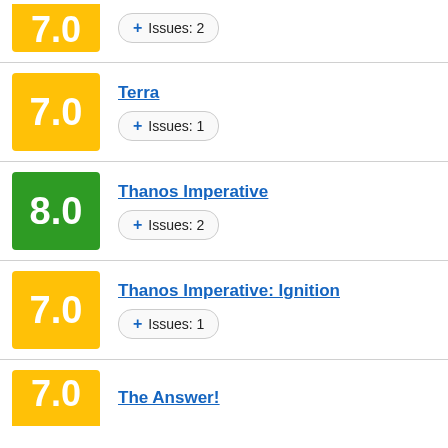7.0 · Issues: 2 (partial, cropped)
Terra · 7.0 · Issues: 1
Thanos Imperative · 8.0 · Issues: 2
Thanos Imperative: Ignition · 7.0 · Issues: 1
The Answer! · 7.0 (partial, cropped)